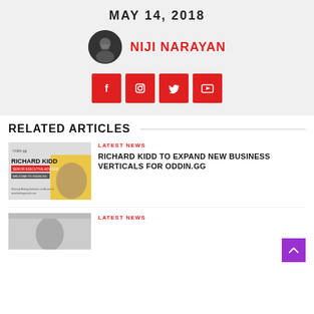MAY 14, 2018
NIJI NARAYAN
[Figure (infographic): Social media icons row: Facebook, Instagram, Twitter, YouTube — white icons on red square buttons]
RELATED ARTICLES
LATEST NEWS
RICHARD KIDD TO EXPAND NEW BUSINESS VERTICALS FOR ODDIN.GG
LATEST NEWS